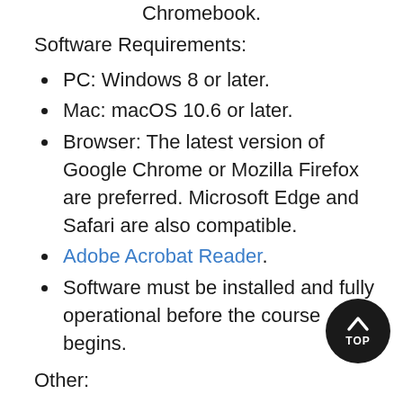Chromebook.
Software Requirements:
PC: Windows 8 or later.
Mac: macOS 10.6 or later.
Browser: The latest version of Google Chrome or Mozilla Firefox are preferred. Microsoft Edge and Safari are also compatible.
Adobe Acrobat Reader.
Software must be installed and fully operational before the course begins.
Other:
Email capabilities and access to a personal email account.